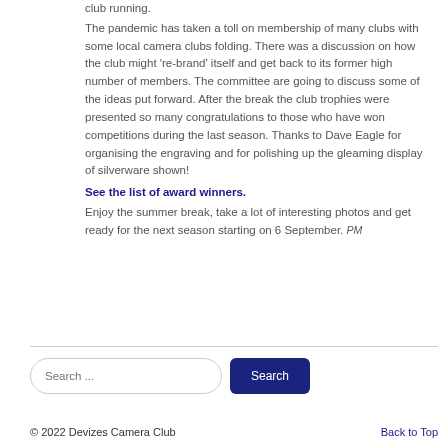club running. The pandemic has taken a toll on membership of many clubs with some local camera clubs folding. There was a discussion on how the club might 're-brand' itself and get back to its former high number of members. The committee are going to discuss some of the ideas put forward. After the break the club trophies were presented so many congratulations to those who have won competitions during the last season. Thanks to Dave Eagle for organising the engraving and for polishing up the gleaming display of silverware shown!
See the list of award winners.
Enjoy the summer break, take a lot of interesting photos and get ready for the next season starting on 6 September. PM
© 2022 Devizes Camera Club | Back to Top